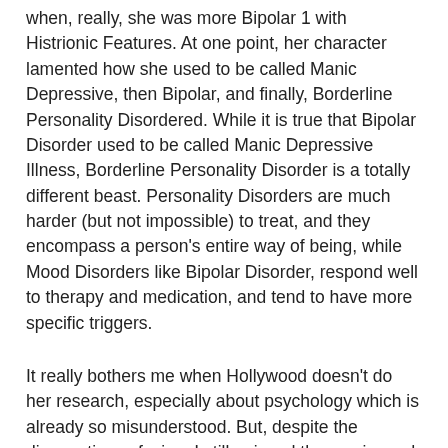when, really, she was more Bipolar 1 with Histrionic Features. At one point, her character lamented how she used to be called Manic Depressive, then Bipolar, and finally, Borderline Personality Disordered. While it is true that Bipolar Disorder used to be called Manic Depressive Illness, Borderline Personality Disorder is a totally different beast. Personality Disorders are much harder (but not impossible) to treat, and they encompass a person's entire way of being, while Mood Disorders like Bipolar Disorder, respond well to therapy and medication, and tend to have more specific triggers.
It really bothers me when Hollywood doesn't do her research, especially about psychology which is already so misunderstood. But, despite the diagnostic confusion, I still enjoyed the movie, and it got me thinking about who is really crazy in today's society. Here's a hint: it's not who you might think.
One of the things that always strikes me about characters who are supposed to be mentally ill is how honest they are.